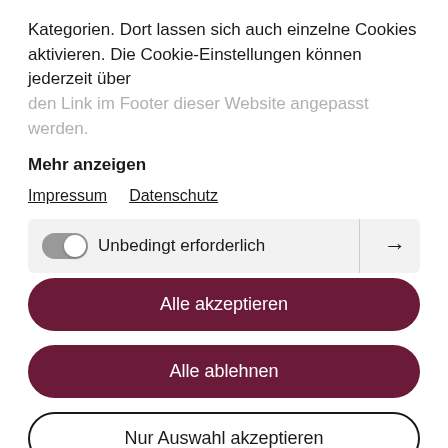Kategorien. Dort lassen sich auch einzelne Cookies aktivieren. Die Cookie-Einstellungen können jederzeit über den Link im Footer dieser Website angepasst werden.
Mehr anzeigen
Impressum   Datenschutz
Unbedingt erforderlich
Alle akzeptieren
Alle ablehnen
Nur Auswahl akzeptieren